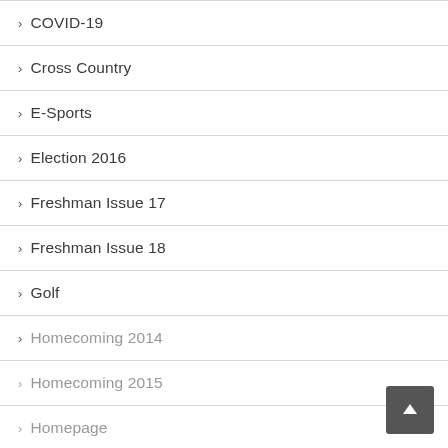> COVID-19
> Cross Country
> E-Sports
> Election 2016
> Freshman Issue 17
> Freshman Issue 18
> Golf
> Homecoming 2014
> Homecoming 2015
> Homepage